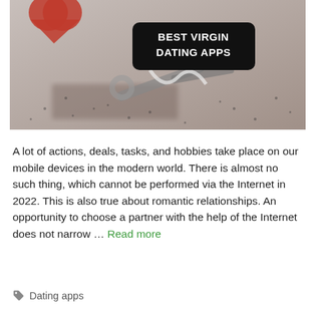[Figure (photo): A blurred photo of keys with a red heart-shaped keychain on a light surface, with text overlay 'Best Virgin Dating Apps' in white bold font on a black rounded rectangle badge.]
A lot of actions, deals, tasks, and hobbies take place on our mobile devices in the modern world. There is almost no such thing, which cannot be performed via the Internet in 2022. This is also true about romantic relationships. An opportunity to choose a partner with the help of the Internet does not narrow … Read more
Dating apps